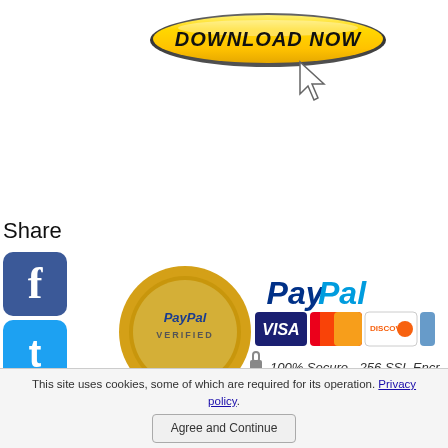[Figure (screenshot): Yellow DOWNLOAD NOW button with bold italic text on gold gradient background with oval shape]
[Figure (screenshot): Mouse cursor arrow icon pointing downward-left]
Share
[Figure (screenshot): Social sharing icons: Facebook (blue), Twitter (blue), Pinterest (red), Tumblr (dark blue), Reddit (orange), WhatsApp (green)]
[Figure (screenshot): PayPal Verified gold seal badge and PayPal payment logos with Visa, MasterCard, Discover, Amex cards, and 100% Secure - 256 SSL Encryption text]
MINDER: Unlike most of the PLR articles ailable on my site, these articles are non-clusive PLR content, but from my experience ey are so far in very limited distribution. I have purchased the reseller rights to this stock
This site uses cookies, some of which are required for its operation. Privacy policy. Agree and Continue